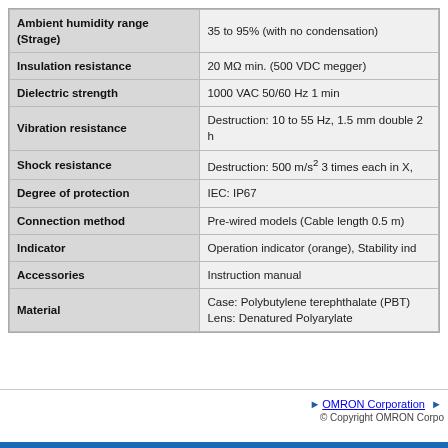| Property | Value |
| --- | --- |
| Ambient humidity range (Strage) | 35 to 95% (with no condensation) |
| Insulation resistance | 20 MΩ min. (500 VDC megger) |
| Dielectric strength | 1000 VAC 50/60 Hz 1 min |
| Vibration resistance | Destruction: 10 to 55 Hz, 1.5 mm double 2 h |
| Shock resistance | Destruction: 500 m/s² 3 times each in X, |
| Degree of protection | IEC: IP67 |
| Connection method | Pre-wired models (Cable length 0.5 m) |
| Indicator | Operation indicator (orange), Stability ind |
| Accessories | Instruction manual |
| Material | Case: Polybutylene terephthalate (PBT)
Lens: Denatured Polyarylate |
▶ OMRON Corporation ▶
© Copyright OMRON Corpo